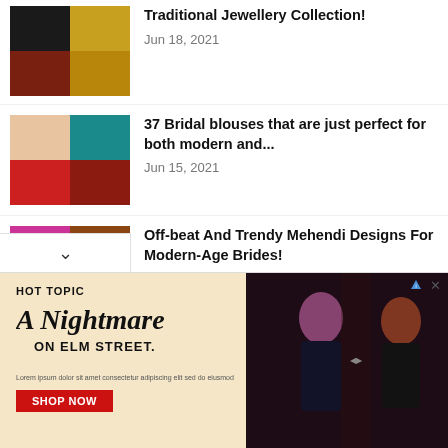Traditional Jewellery Collection! Jun 18, 2021
37 Bridal blouses that are just perfect for both modern and... Jun 15, 2021
Off-beat And Trendy Mehendi Designs For Modern-Age Brides! Jun 5, 2021
16 Hand-Painted blouses that are magnificent in every way! May 31, 2021
[Figure (screenshot): HOT TOPIC advertisement for A Nightmare on Elm Street with Shop Now button and two people in dark clothing]